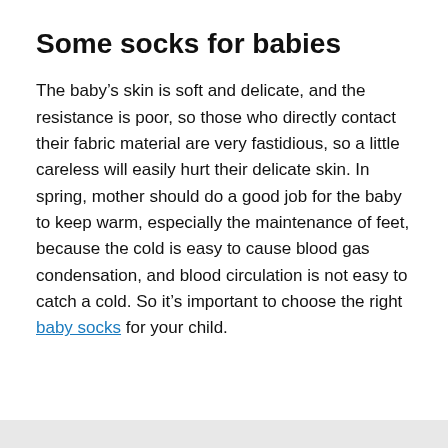Some socks for babies
The baby’s skin is soft and delicate, and the resistance is poor, so those who directly contact their fabric material are very fastidious, so a little careless will easily hurt their delicate skin. In spring, mother should do a good job for the baby to keep warm, especially the maintenance of feet, because the cold is easy to cause blood gas condensation, and blood circulation is not easy to catch a cold. So it’s important to choose the right baby socks for your child.